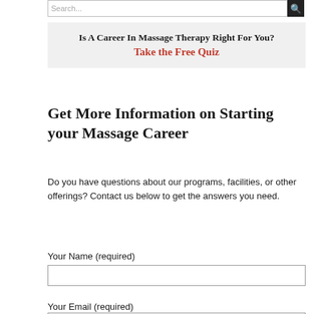Search...
Is A Career In Massage Therapy Right For You?
Take the Free Quiz
Get More Information on Starting your Massage Career
Do you have questions about our programs, facilities, or other offerings? Contact us below to get the answers you need.
Your Name (required)
Your Email (required)